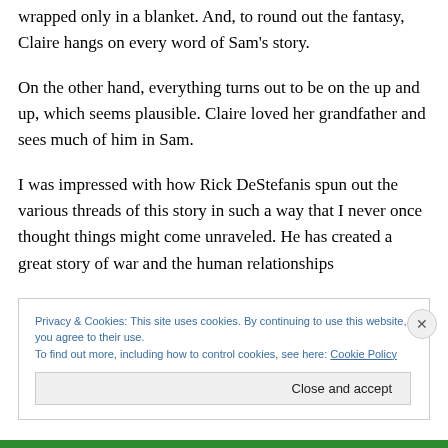wrapped only in a blanket. And, to round out the fantasy, Claire hangs on every word of Sam's story.
On the other hand, everything turns out to be on the up and up, which seems plausible. Claire loved her grandfather and sees much of him in Sam.
I was impressed with how Rick DeStefanis spun out the various threads of this story in such a way that I never once thought things might come unraveled. He has created a great story of war and the human relationships
Privacy & Cookies: This site uses cookies. By continuing to use this website, you agree to their use.
To find out more, including how to control cookies, see here: Cookie Policy